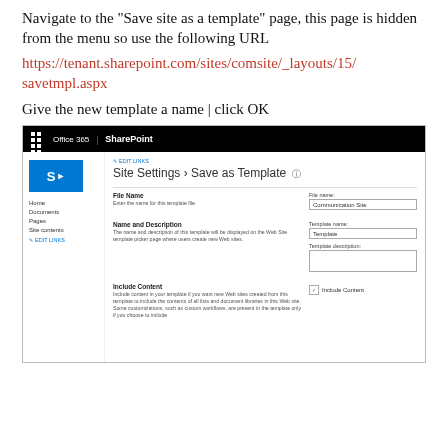Navigate to the "Save site as a template" page, this page is hidden from the menu so use the following URL
https://tenant.sharepoint.com/sites/comsite/_layouts/15/savetmpl.aspx
Give the new template a name | click OK
[Figure (screenshot): Screenshot of SharePoint 'Site Settings - Save as Template' page with Office 365 top navigation bar, sidebar with Home, Documents, Pages, Site contents links, and form fields for File Name, Name and Description (Template name, Template description), and Include Content checkbox.]